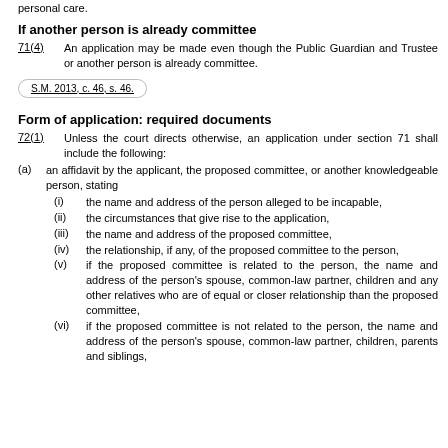personal care.
If another person is already committee
71(4)      An application may be made even though the Public Guardian and Trustee or another person is already committee.
S.M. 2013, c. 46, s. 46.
Form of application: required documents
72(1)      Unless the court directs otherwise, an application under section 71 shall include the following:
(a) an affidavit by the applicant, the proposed committee, or another knowledgeable person, stating
(i) the name and address of the person alleged to be incapable,
(ii) the circumstances that give rise to the application,
(iii) the name and address of the proposed committee,
(iv) the relationship, if any, of the proposed committee to the person,
(v) if the proposed committee is related to the person, the name and address of the person's spouse, common-law partner, children and any other relatives who are of equal or closer relationship than the proposed committee,
(vi) if the proposed committee is not related to the person, the name and address of the person's spouse, common-law partner, children, parents and siblings,